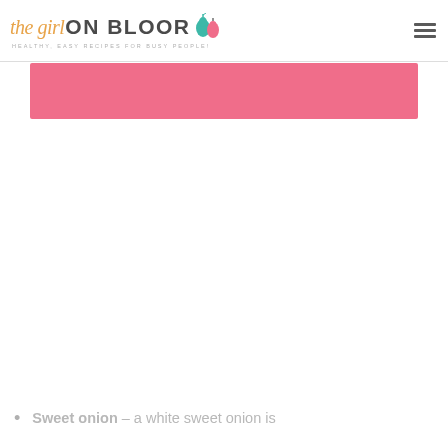the girl ON BLOOR - HEALTHY, EASY RECIPES FOR BUSY PEOPLE!
[Figure (other): Pink banner/advertisement strip]
Sweet onion – a white sweet onion is